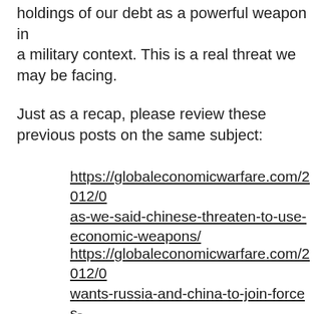holdings of our debt as a powerful weapon in a military context. This is a real threat we may be facing.
Just as a recap, please review these previous posts on the same subject:
https://globaleconomicwarfare.com/2012/0...as-we-said-chinese-threaten-to-use-economic-weapons/
https://globaleconomicwarfare.com/2012/0...wants-russia-and-china-to-join-forces-against-the-west/